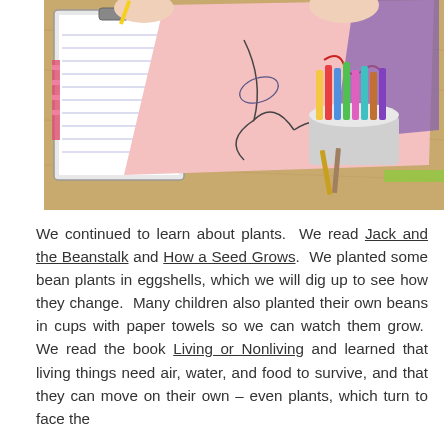[Figure (photo): Overhead view of a child's hands working on a pink paper with a drawing, alongside a clipboard with lined paper, and a cup filled with colorful markers and pencils on a wooden table.]
We continued to learn about plants.  We read Jack and the Beanstalk and How a Seed Grows.  We planted some bean plants in eggshells, which we will dig up to see how they change.  Many children also planted their own beans in cups with paper towels so we can watch them grow.  We read the book Living or Nonliving and learned that living things need air, water, and food to survive, and that they can move on their own – even plants, which turn to face the